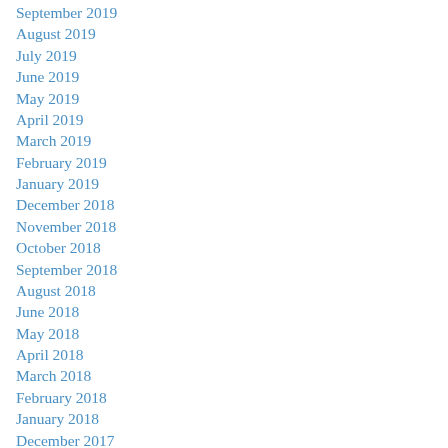September 2019
August 2019
July 2019
June 2019
May 2019
April 2019
March 2019
February 2019
January 2019
December 2018
November 2018
October 2018
September 2018
August 2018
June 2018
May 2018
April 2018
March 2018
February 2018
January 2018
December 2017